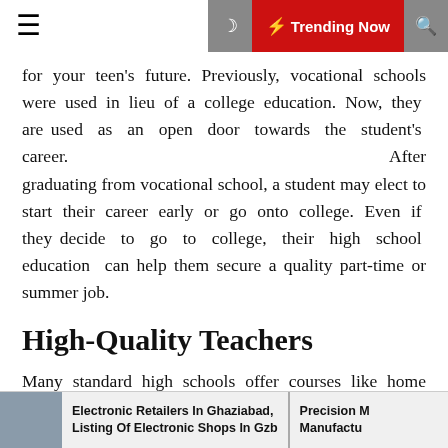≡  🌙  ⚡ Trending Now  🔍
for your teen's future. Previously, vocational schools were used in lieu of a college education. Now, they are used as an open door towards the student's career. After graduating from vocational school, a student may elect to start their career early or go onto college. Even if they decide to go to college, their high school education can help them secure a quality part-time or summer job.
High-Quality Teachers
Many standard high schools offer courses like home economics, woodshop, and computer sciences. The teachers for these courses are usually just teachers from other core subjects. When you attend a vocational school, your professors will be specialists in that field. Would you rather take food courses from a math teacher or a chef? The professors don't just teach from a book. They teach
Electronic Retailers In Ghaziabad, Listing Of Electronic Shops In Gzb   |   Precision M Manufactu